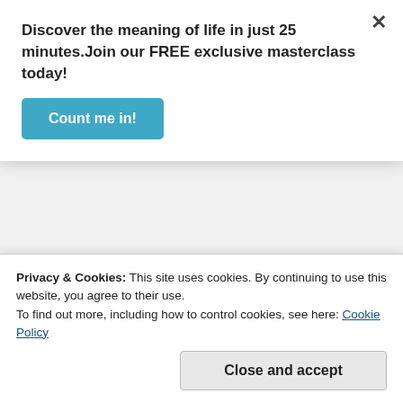Discover the meaning of life in just 25 minutes.Join our FREE exclusive masterclass today!
Count me in!
condemn it, for she came from the ends of the earth to hear the wisdom of Solomon; and indeed a greater than Solomon is here” (Matthew 12:41-42).
★ Like
Reply
Privacy & Cookies: This site uses cookies. By continuing to use this website, you agree to their use.
To find out more, including how to control cookies, see here: Cookie Policy
Close and accept